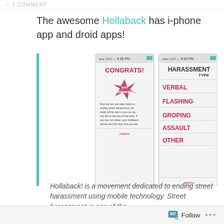1 COMMENT
The awesome Hollaback has i-phone app and droid apps!
[Figure (screenshot): Two iPhone app screenshots side by side. Left screen shows CONGRATS! with a pink star graphic and text 'you hollaback'ed!' and message about ending street harassment. Right screen shows HARASSMENT TYPE with options: VERBAL, FLASHING, GROPING, ASSAULT, OTHER. Both screens show AT&T signal, 4:35 PM, and a menu button.]
Hollaback! is a movement dedicated to ending street harassment using mobile technology. Street harassment is one of the